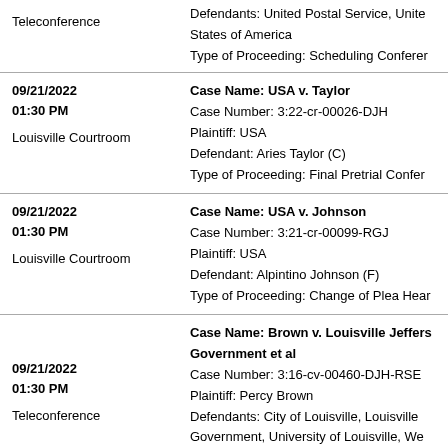Teleconference | Defendants: United Postal Service, United States of America | Type of Proceeding: Scheduling Conference
09/21/2022 01:30 PM Louisville Courtroom | Case Name: USA v. Taylor | Case Number: 3:22-cr-00026-DJH | Plaintiff: USA | Defendant: Aries Taylor (C) | Type of Proceeding: Final Pretrial Conference
09/21/2022 01:30 PM Louisville Courtroom | Case Name: USA v. Johnson | Case Number: 3:21-cr-00099-RGJ | Plaintiff: USA | Defendant: Alpintino Johnson (F) | Type of Proceeding: Change of Plea Hearing
09/21/2022 01:30 PM Teleconference | Case Name: Brown v. Louisville Jefferson Government et al | Case Number: 3:16-cv-00460-DJH-RSE | Plaintiff: Percy Brown | Defendants: City of Louisville, Louisville Government, University of Louisville, We Brian Kuriger, David Sanford, Gary Alco Roberts, Kristen Downs, Michael Smithe Kessinger | Type of Proceeding: Status Conference